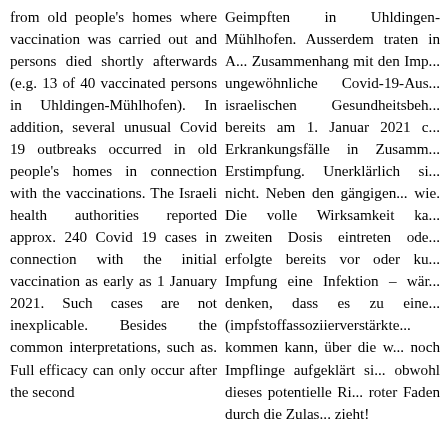from old people's homes where vaccination was carried out and persons died shortly afterwards (e.g. 13 of 40 vaccinated persons in Uhldingen-Mühlhofen). In addition, several unusual Covid 19 outbreaks occurred in old people's homes in connection with the vaccinations. The Israeli health authorities reported approx. 240 Covid 19 cases in connection with the initial vaccination as early as 1 January 2021. Such cases are not inexplicable. Besides the common interpretations, such as. Full efficacy can only occur after the second
Geimpften in Uhldingen-Mühlhofen. Ausserdem traten in A... Zusammenhang mit den Imp... ungewöhnliche Covid-19-Aus... israelischen Gesundheitsbeh... bereits am 1. Januar 2021 c... Erkrankungsfälle in Zusamm... Erstimpfung. Unerklärlich si... nicht. Neben den gängigen... wie. Die volle Wirksamkeit ka... zweiten Dosis eintreten ode... erfolgte bereits vor oder ku... Impfung eine Infektion – wär... denken, dass es zu eine... (impfstoffassoziierverstärkte... kommen kann, über die w... noch Impflinge aufgeklärt si... obwohl dieses potentielle Ri... roter Faden durch die Zulas... zieht!